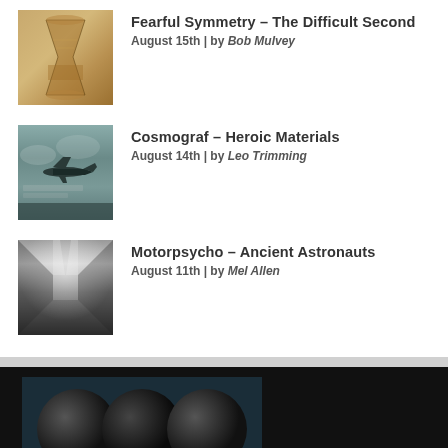Fearful Symmetry – The Difficult Second
August 15th | by Bob Mulvey
Cosmograf – Heroic Materials
August 14th | by Leo Trimming
Motorpsycho – Ancient Astronauts
August 11th | by Mel Allen
[Figure (logo): TPA – The Progressive Aspect logo on dark background]